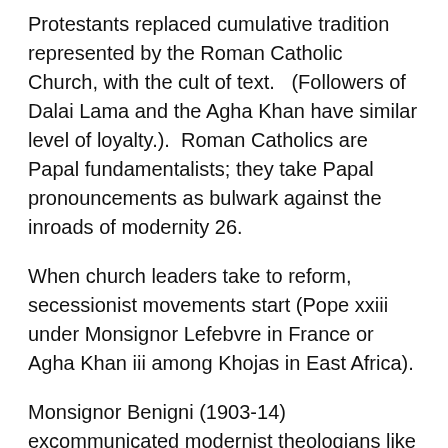Protestants replaced cumulative tradition represented by the Roman Catholic Church, with the cult of text.   (Followers of Dalai Lama and the Agha Khan have similar level of loyalty.).  Roman Catholics are Papal fundamentalists; they take Papal pronouncements as bulwark against the inroads of modernity 26.
When church leaders take to reform, secessionist movements start (Pope xxiii under Monsignor Lefebvre in France or Agha Khan iii among Khojas in East Africa).
Monsignor Benigni (1903-14) excommunicated modernist theologians like Alfred Loisy in France and George Tyrell in England and put their books on the forbidden list. Benigni